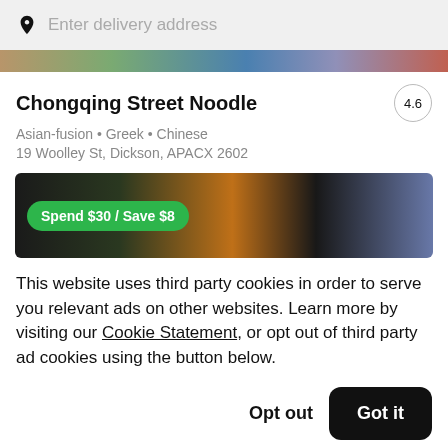Enter delivery address
[Figure (photo): Partial food image strip at top of restaurant card]
Chongqing Street Noodle
4.6
Asian-fusion • Greek • Chinese
19 Woolley St, Dickson, APACX 2602
[Figure (photo): Promotional banner image of food with green badge reading 'Spend $30 / Save $8']
This website uses third party cookies in order to serve you relevant ads on other websites. Learn more by visiting our Cookie Statement, or opt out of third party ad cookies using the button below.
Opt out
Got it